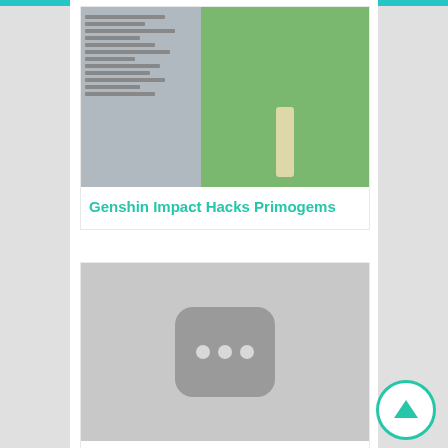[Figure (screenshot): Screenshot of Genshin Impact game with cheat/hack tool panel on the left and game scene on the right showing a character on a green field]
Genshin Impact Hacks Primogems
[Figure (screenshot): Gray placeholder image with a dark rounded rectangle icon containing three dots]
Anime Fighting Simulator Hack Script
[Figure (screenshot): Partial dark image showing what appears to be a device on a surface]